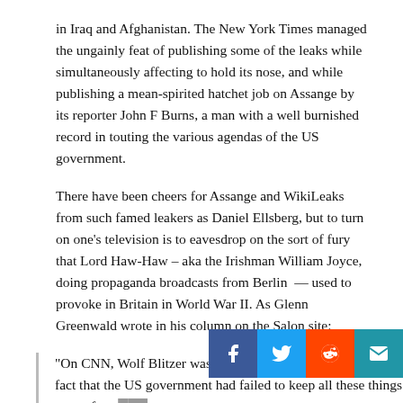in Iraq and Afghanistan. The New York Times managed the ungainly feat of publishing some of the leaks while simultaneously affecting to hold its nose, and while publishing a mean-spirited hatchet job on Assange by its reporter John F Burns, a man with a well burnished record in touting the various agendas of the US government.
There have been cheers for Assange and WikiLeaks from such famed leakers as Daniel Ellsberg, but to turn on one’s television is to eavesdrop on the sort of fury that Lord Haw-Haw – aka the Irishman William Joyce, doing propaganda broadcasts from Berlin — used to provoke in Britain in World War II. As Glenn Greenwald wrote in his column on the Salon site:
“On CNN, Wolf Blitzer was beside himself with rage over the fact that the US government had failed to keep all these things secret from… like the Good Journalist doing Blitz…